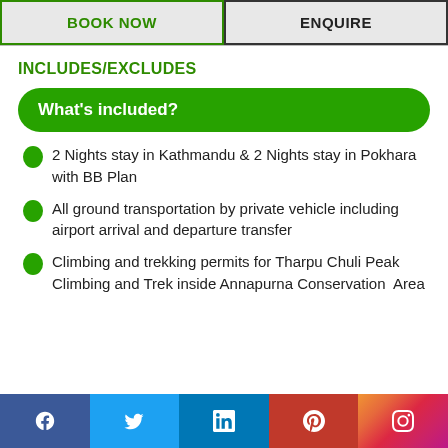BOOK NOW
ENQUIRE
INCLUDES/EXCLUDES
What's included?
2 Nights stay in Kathmandu & 2 Nights stay in Pokhara with BB Plan
All ground transportation by private vehicle including airport arrival and departure transfer
Climbing and trekking permits for Tharpu Chuli Peak Climbing and Trek inside Annapurna Conservation Area
Social media links: Facebook, Twitter, LinkedIn, Pinterest, Instagram